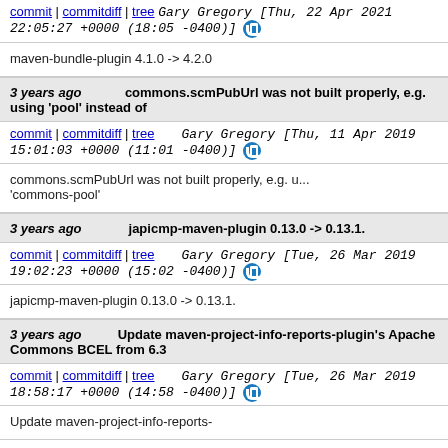commit | commitdiff | tree   Gary Gregory [Thu, 22 Apr 2021 22:05:27 +0000 (18:05 -0400)]
maven-bundle-plugin 4.1.0 -> 4.2.0
3 years ago   commons.scmPubUrl was not built properly, e.g. using 'pool' instead of
commit | commitdiff | tree   Gary Gregory [Thu, 11 Apr 2019 15:01:03 +0000 (11:01 -0400)]
commons.scmPubUrl was not built properly, e.g. u... 'commons-pool'
3 years ago   japicmp-maven-plugin 0.13.0 -> 0.13.1.
commit | commitdiff | tree   Gary Gregory [Tue, 26 Mar 2019 19:02:23 +0000 (15:02 -0400)]
japicmp-maven-plugin 0.13.0 -> 0.13.1.
3 years ago   Update maven-project-info-reports-plugin's Apache Commons BCEL from 6.3
commit | commitdiff | tree   Gary Gregory [Tue, 26 Mar 2019 18:58:17 +0000 (14:58 -0400)]
Update maven-project-info-reports-